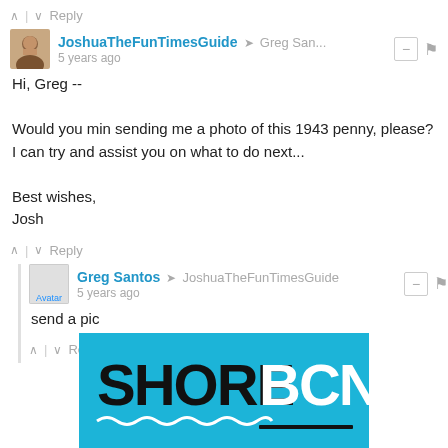↑ | ↓ Reply
JoshuaTheFunTimesGuide → Greg San... 5 years ago
Hi, Greg --

Would you min sending me a photo of this 1943 penny, please? I can try and assist you on what to do next...

Best wishes,
Josh
↑ | ↓ Reply
Greg Santos → JoshuaTheFunTimesGuide 5 years ago
send a pic
↑ | ↓ Reply
[Figure (logo): SHORE BCN advertisement banner in blue with wave motif]